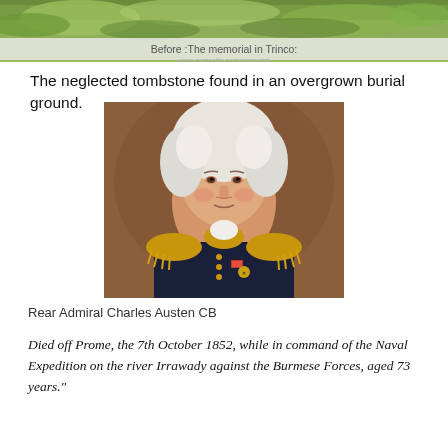[Figure (photo): Top portion of a photo showing green vegetation/grass and a memorial in Trincomalee]
Before :The memorial in Trinco:
The neglected tombstone found in an overgrown burial ground.
[Figure (photo): Portrait painting of Rear Admiral Charles Austen CB in naval uniform with gold epaulettes and medals]
Rear Admiral Charles Austen CB
Died off Prome, the 7th October 1852, while in command of the Naval Expedition on the river Irrawady against the Burmese Forces, aged 73 years."